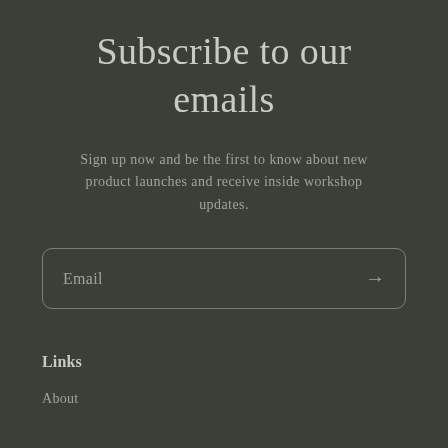Subscribe to our emails
Sign up now and be the first to know about new product launches and receive inside workshop updates.
[Figure (other): Email input field with rounded border and arrow/submit button on the right, placeholder text 'Email']
Links
About